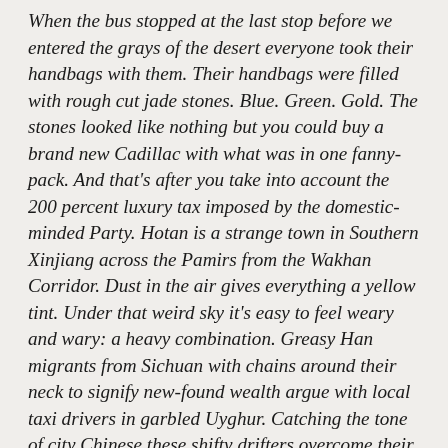When the bus stopped at the last stop before we entered the grays of the desert everyone took their handbags with them. Their handbags were filled with rough cut jade stones. Blue. Green. Gold. The stones looked like nothing but you could buy a brand new Cadillac with what was in one fanny-pack. And that's after you take into account the 200 percent luxury tax imposed by the domestic-minded Party. Hotan is a strange town in Southern Xinjiang across the Pamirs from the Wakhan Corridor. Dust in the air gives everything a yellow tint. Under that weird sky it's easy to feel weary and wary: a heavy combination. Greasy Han migrants from Sichuan with chains around their neck to signify new-found wealth argue with local taxi drivers in garbled Uyghur. Catching the tone of city Chinese these shifty drifters overcome their shyness and suggest rundown roadhouses: simple and cheap they say. Ignoring what they say we ask for the People's Square where we encounter a tall freckle-faced British boy next to the statue of Mao shaking hands with a Uyghur farmer. He recommends